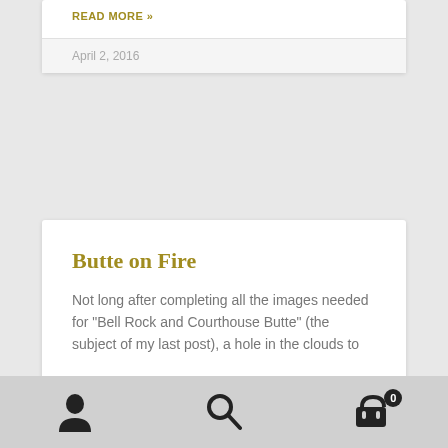READ MORE »
April 2, 2016
Butte on Fire
Not long after completing all the images needed for “Bell Rock and Courthouse Butte” (the subject of my last post), a hole in the clouds to
READ MORE »
April 1, 2016
[Figure (infographic): Mobile navigation toolbar with user profile icon, search icon, and shopping cart icon with badge showing 0]